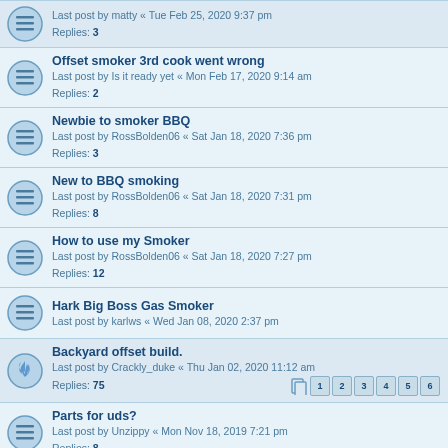Last post by matty « Tue Feb 25, 2020 9:37 pm
Replies: 3
Offset smoker 3rd cook went wrong
Last post by Is it ready yet « Mon Feb 17, 2020 9:14 am
Replies: 2
Newbie to smoker BBQ
Last post by RossBolden06 « Sat Jan 18, 2020 7:36 pm
Replies: 3
New to BBQ smoking
Last post by RossBolden06 « Sat Jan 18, 2020 7:31 pm
Replies: 8
How to use my Smoker
Last post by RossBolden06 « Sat Jan 18, 2020 7:27 pm
Replies: 12
Hark Big Boss Gas Smoker
Last post by karlws « Wed Jan 08, 2020 2:37 pm
Backyard offset build.
Last post by Crackly_duke « Thu Jan 02, 2020 11:12 am
Replies: 75  Pages: 1 2 3 4 5 6
Parts for uds?
Last post by Unzippy « Mon Nov 18, 2019 7:21 pm
Replies: 8
Newbie needing some opinions please
Last post by goonerash « Wed Oct 02, 2019 11:03 am
Review - Dusty Moose 47cm Charcoal Smoker - A smoker made for Australians